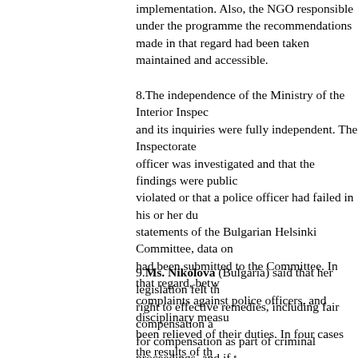implementation. Also, the NGO responsible under the programme and the recommendations made in that regard had been taken and maintained and accessible.
8.The independence of the Ministry of the Interior Inspectorate and its inquiries were fully independent. The Inspectorate ensured officer was investigated and that the findings were public. If laws violated or that a police officer had failed in his or her duties, the statements of the Bulgarian Helsinki Committee, data on complaints had been submitted to the Committee. In that regard, between complaints against police officers, and disciplinary measures had been relieved of their duties. In four cases the results of the
9.Ms. Nikolova (Bulgaria) said that her legislation felt that the right to effective remedies, including fair compensation and for compensation as part of criminal proceedings, and if the result of the criminal offence before the court, they could complainants. If the aggrieved party sustained serious personal he or she could request compensation under the Assistance crimes covered by the Convention were also able to initiate Damages Act, which imposed liability on the law enforcement compensation conditions were those defined by the State that in conformity with the Mediation Act, the National Authority drafts for amendments to the Criminal Code and the Code institution that would contribute to the swift and fair compensation